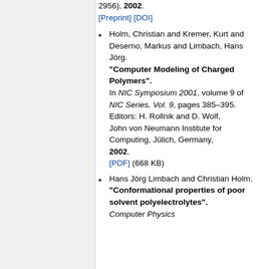[continuation] 2956), 2002. [Preprint] [DOI]
Holm, Christian and Kremer, Kurt and Deserno, Markus and Limbach, Hans Jörg. "Computer Modeling of Charged Polymers". In NIC Symposium 2001, volume 9 of NIC Series, Vol. 9, pages 385–395. Editors: H. Rollnik and D. Wolf, John von Neumann Institute for Computing, Jülich, Germany, 2002. [PDF] (668 KB)
Hans Jörg Limbach and Christian Holm. "Conformational properties of poor solvent polyelectrolytes". Computer Physics...